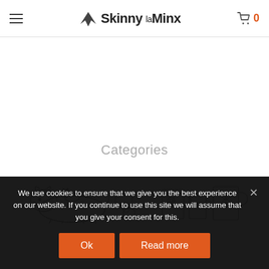Skinny laMinx - navigation header with hamburger menu, logo, and cart icon showing 0 items
Categories
[Figure (illustration): Row of hand-drawn illustrations: bear/animal figures on the left half, decorative mugs/cups on the right half]
We use cookies to ensure that we give you the best experience on our website. If you continue to use this site we will assume that you give your consent for this.
Ok  Read more